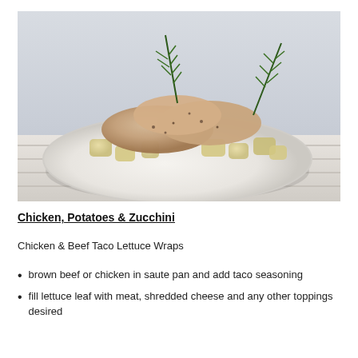[Figure (photo): A plate of roasted chicken pieces with potatoes and rosemary sprigs on a white plate, photographed on a white wooden surface.]
Chicken, Potatoes & Zucchini
Chicken & Beef Taco Lettuce Wraps
brown beef or chicken in saute pan and add taco seasoning
fill lettuce leaf with meat, shredded cheese and any other toppings desired